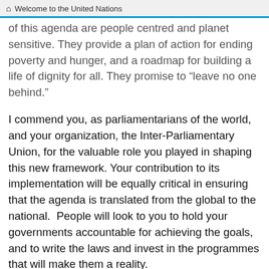Welcome to the United Nations
of this agenda are people centred and planet sensitive. They provide a plan of action for ending poverty and hunger, and a roadmap for building a life of dignity for all. They promise to “leave no one behind.”
I commend you, as parliamentarians of the world, and your organization, the Inter-Parliamentary Union, for the valuable role you played in shaping this new framework. Your contribution to its implementation will be equally critical in ensuring that the agenda is translated from the global to the national.  People will look to you to hold your governments accountable for achieving the goals, and to write the laws and invest in the programmes that will make them a reality.
People want education, healthcare and more job opportunities. They want to live without fear. They want to be able to trust their governments and institutions. They